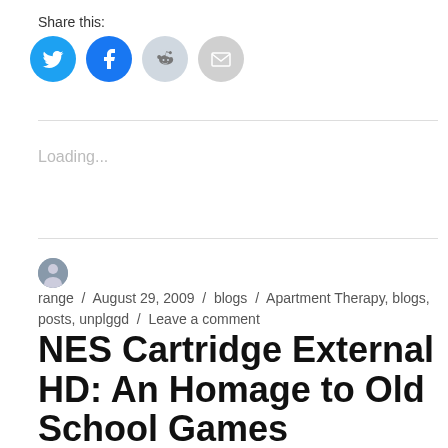Share this:
[Figure (infographic): Four social share buttons: Twitter (blue circle with bird icon), Facebook (blue circle with f icon), Reddit (light gray circle with alien icon), Email (gray circle with envelope icon)]
Loading...
range / August 29, 2009 / blogs / Apartment Therapy, blogs, posts, unplggd / Leave a comment
NES Cartridge External HD: An Homage to Old School Games